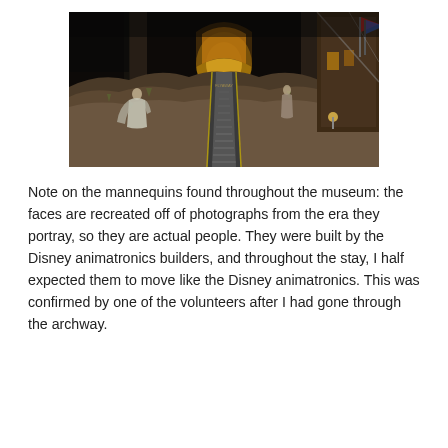[Figure (photo): Interior museum scene looking up a long escalator or ramp leading to an arched tunnel. Rocky desert landscape with mannequins in period clothing on either side. Dark atmospheric lighting with warm arch at top. Building exterior visible on right side.]
Note on the mannequins found throughout the museum: the faces are recreated off of photographs from the era they portray, so they are actual people. They were built by the Disney animatronics builders, and throughout the stay, I half expected them to move like the Disney animatronics. This was confirmed by one of the volunteers after I had gone through the archway.